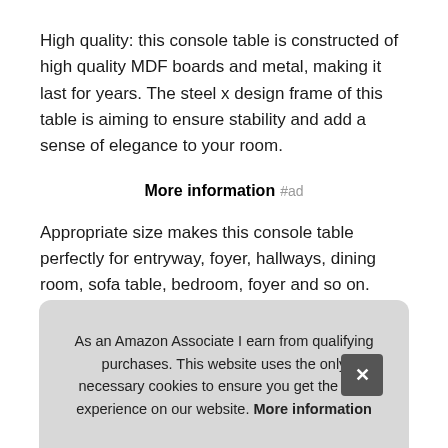High quality: this console table is constructed of high quality MDF boards and metal, making it last for years. The steel x design frame of this table is aiming to ensure stability and add a sense of elegance to your room.
More information #ad
Appropriate size makes this console table perfectly for entryway, foyer, hallways, dining room, sofa table, bedroom, foyer and so on.
Treocho service team ensure you'll have a good shopping experience. Perfect for living room, entryway, hallway, spa, bedroom, foyer and so on. and hallway offi...
As an Amazon Associate I earn from qualifying purchases. This website uses the only necessary cookies to ensure you get the best experience on our website. More information